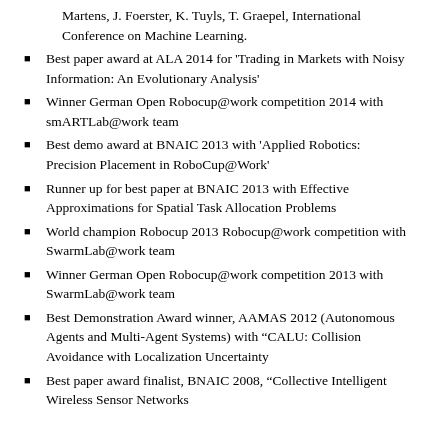Martens, J. Foerster, K. Tuyls, T. Graepel, International Conference on Machine Learning.
Best paper award at ALA 2014 for ‘Trading in Markets with Noisy Information: An Evolutionary Analysis’
Winner German Open Robocup@work competition 2014 with smARTLab@work team
Best demo award at BNAIC 2013 with ‘Applied Robotics: Precision Placement in RoboCup@Work’
Runner up for best paper at BNAIC 2013 with Effective Approximations for Spatial Task Allocation Problems
World champion Robocup 2013 Robocup@work competition with SwarmLab@work team
Winner German Open Robocup@work competition 2013 with SwarmLab@work team
Best Demonstration Award winner, AAMAS 2012 (Autonomous Agents and Multi-Agent Systems) with “CALU: Collision Avoidance with Localization Uncertainty
Best paper award finalist, BNAIC 2008, “Collective Intelligent Wireless Sensor Networks